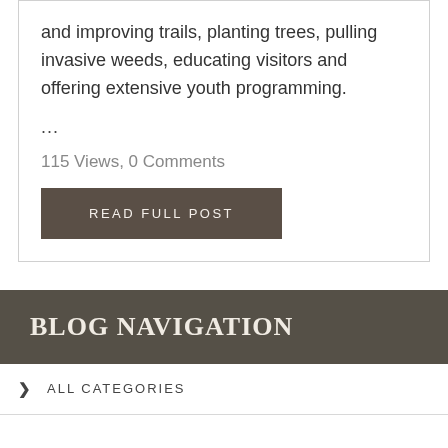and improving trails, planting trees, pulling invasive weeds, educating visitors and offering extensive youth programming.
...
115 Views, 0 Comments
READ FULL POST
BLOG NAVIGATION
ALL CATEGORIES